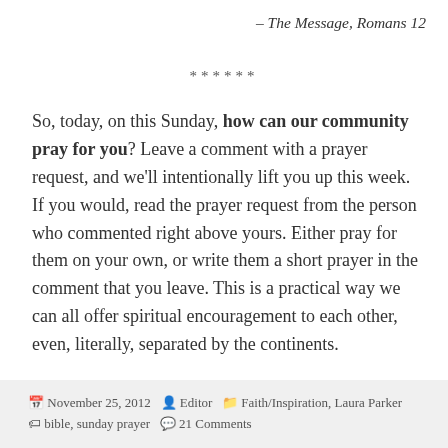– The Message, Romans 12
******
So, today, on this Sunday, how can our community pray for you? Leave a comment with a prayer request, and we'll intentionally lift you up this week. If you would, read the prayer request from the person who commented right above yours. Either pray for them on your own, or write them a short prayer in the comment that you leave. This is a practical way we can all offer spiritual encouragement to each other, even, literally, separated by the continents.
November 25, 2012   Editor   Faith/Inspiration, Laura Parker   bible, sunday prayer   21 Comments